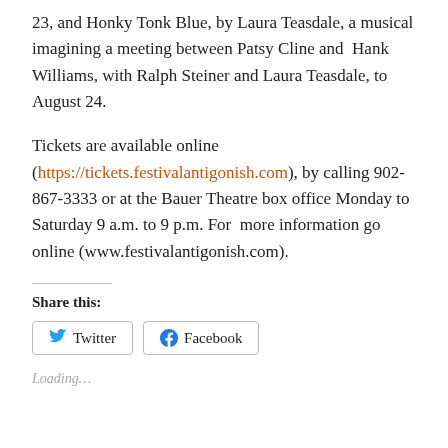23, and Honky Tonk Blue, by Laura Teasdale, a musical imagining a meeting between Patsy Cline and  Hank Williams, with Ralph Steiner and Laura Teasdale, to August 24.
Tickets are available online (https://tickets.festivalantigonish.com), by calling 902-867-3333 or at the Bauer Theatre box office Monday to Saturday 9 a.m. to 9 p.m. For  more information go online (www.festivalantigonish.com).
Share this:
Twitter  Facebook
Loading...